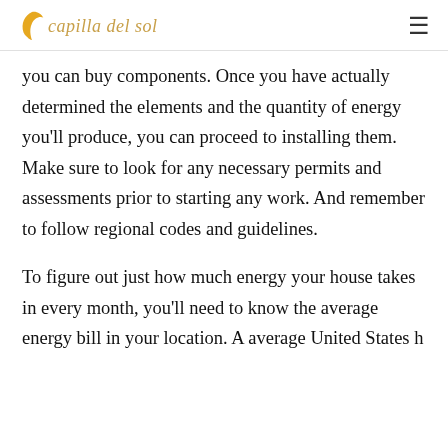capilla del sol
you can buy components. Once you have actually determined the elements and the quantity of energy you'll produce, you can proceed to installing them. Make sure to look for any necessary permits and assessments prior to starting any work. And remember to follow regional codes and guidelines.
To figure out just how much energy your house takes in every month, you'll need to know the average energy bill in your location. A average United States home